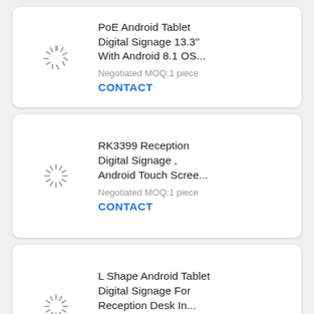[Figure (screenshot): Product listing card 1 (partial top): PoE Android Tablet Digital Signage 13.3'' With Android 8.1 OS... Negotiated MOQ:1 piece CONTACT]
PoE Android Tablet Digital Signage 13.3'' With Android 8.1 OS...
Negotiated MOQ:1 piece
CONTACT
[Figure (screenshot): Product listing card 2: RK3399 Reception Digital Signage , Android Touch Scree... Negotiated MOQ:1 piece CONTACT]
RK3399 Reception Digital Signage , Android Touch Scree...
Negotiated MOQ:1 piece
CONTACT
[Figure (screenshot): Product listing card 3: L Shape Android Tablet Digital Signage For Reception Desk In... 60-900usd MOQ:50pcs CONTACT]
L Shape Android Tablet Digital Signage For Reception Desk In...
60-900usd MOQ:50pcs
CONTACT